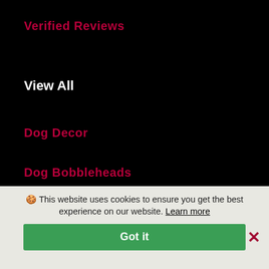Verified Reviews
View All
Dog Decor
Dog Bobbleheads
Dog Statues
Dog Figurines
Dog Signboards
🍪 This website uses cookies to ensure you get the best experience on our website. Learn more
Got it